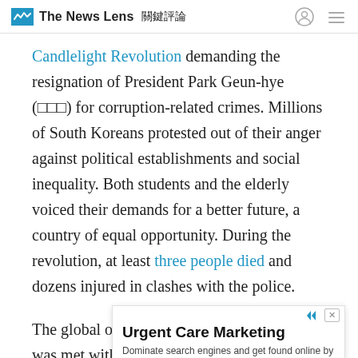The News Lens 關鍵評論
Candlelight Revolution demanding the resignation of President Park Geun-hye (□□□) for corruption-related crimes. Millions of South Koreans protested out of their anger against political establishments and social inequality. Both students and the elderly voiced their demands for a better future, a country of equal opportunity. During the revolution, at least three people died and dozens injured in clashes with the police.
The global outcry for democracy, however, was met with... dete... worl...
[Figure (other): Advertisement overlay: Urgent Care Marketing - Dominate search engines and get found online by patients easily. GMR Web Team. Contact Us button.]